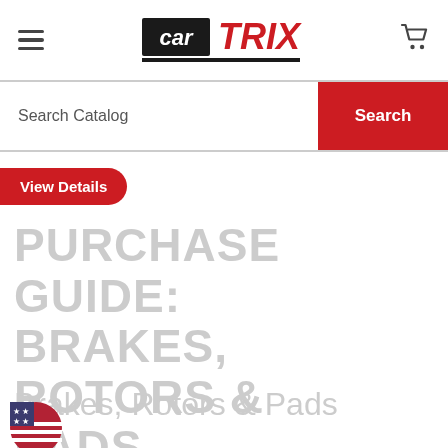CarTrix navigation bar with hamburger menu, logo, and cart icon
Search Catalog
Search
View Details
PURCHASE GUIDE: BRAKES, ROTORS & PADS
Brakes, Rotors & Pads
[Figure (logo): US flag circular icon (partial, bottom left)]